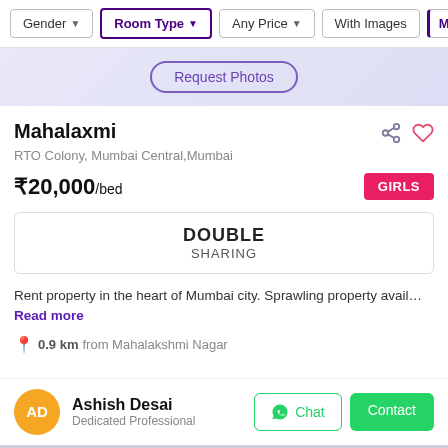Gender | Room Type | Any Price | With Images | M…
[Figure (screenshot): Purple/blue blurred banner area with Request Photos button]
Mahalaxmi
RTO Colony, Mumbai Central,Mumbai
₹20,000/bed
GIRLS
DOUBLE SHARING
Rent property in the heart of Mumbai city. Sprawling property avail… Read more
0.9 km from Mahalakshmi Nagar
Ashish Desai
Dedicated Professional
Sort | Saved | Filter